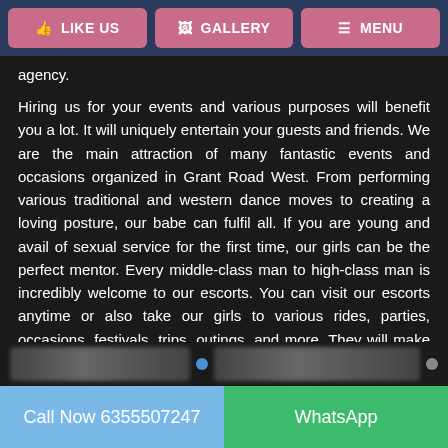LIKE US | GALLERY | MENU
agency.
Hiring us for your events and various purposes will benefit you a lot. It will uniquely entertain your guests and friends. We are the main attraction of many fantastic events and occasions organized in Grant Road West. From performing various traditional and western dance moves to creating a loving posture, our babe can fulfil all. If you are young and avail of sexual service for the first time, our girls can be the perfect mentor. Every middle-class man to high-class man is incredibly welcome to our escorts. You can visit our escorts anytime or also take our girls to various rides, parties, occasions, festivals, trips, outings, and more. They will make sure that you will not feel ashamed of taking them.
Call Now 6355507247 | WhatsApp